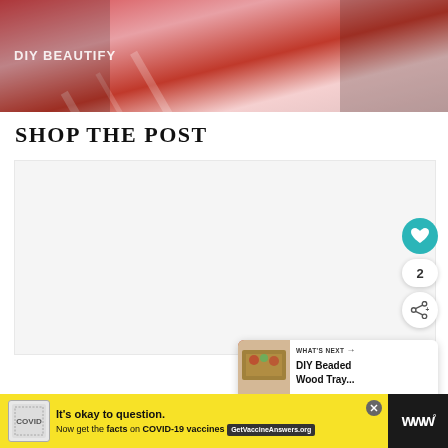[Figure (photo): Header photo of DIY Beautify blog — red ribbons, gift wrapping, holiday decorations on a blurred background with overlay text 'DIY BEAUTIFY']
SHOP THE POST
[Figure (other): Shop the Post widget — light grey placeholder panel for shoppable product links]
2
[Figure (infographic): What's Next panel showing a thumbnail of DIY Beaded Wood Tray article]
WHAT'S NEXT → DIY Beaded Wood Tray...
It's okay to question. Now get the facts on COVID-19 vaccines  GetVaccineAnswers.org